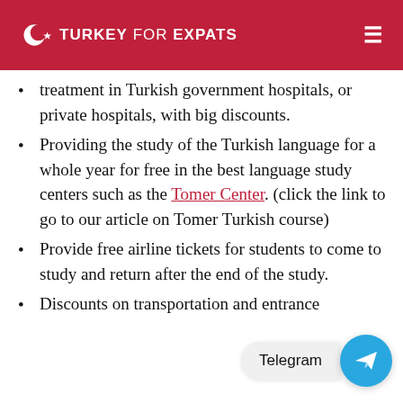TURKEY FOR EXPATS
treatment in Turkish government hospitals, or private hospitals, with big discounts.
Providing the study of the Turkish language for a whole year for free in the best language study centers such as the Tomer Center. (click the link to go to our article on Tomer Turkish course)
Provide free airline tickets for students to come to study and return after the end of the study.
Discounts on transportation and entrance fee for museums and cultural activities.